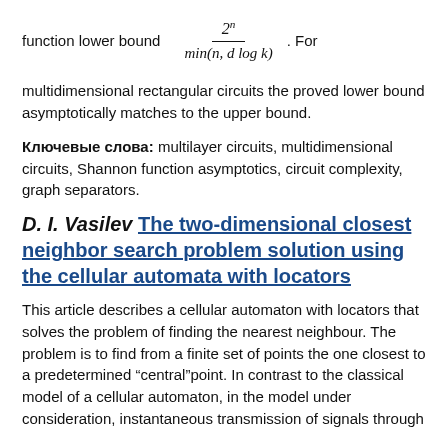multidimensional rectangular circuits the proved lower bound asymptotically matches to the upper bound.
Ключевые слова: multilayer circuits, multidimensional circuits, Shannon function asymptotics, circuit complexity, graph separators.
D. I. Vasilev The two-dimensional closest neighbor search problem solution using the cellular automata with locators
This article describes a cellular automaton with locators that solves the problem of finding the nearest neighbour. The problem is to find from a finite set of points the one closest to a predetermined "central" point. In contrast to the classical model of a cellular automaton, in the model under consideration, instantaneous transmission of signals through